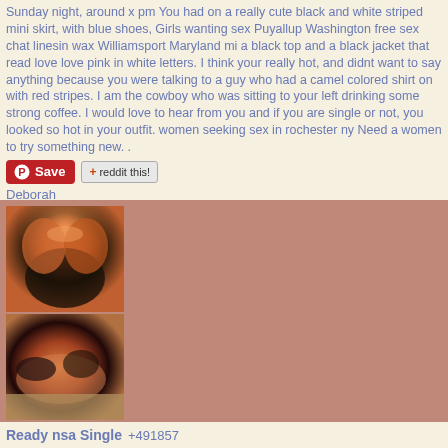Sunday night, around x pm You had on a really cute black and white striped mini skirt, with blue shoes, Girls wanting sex Puyallup Washington free sex chat linesin wax Williamsport Maryland mi a black top and a black jacket that read love love pink in white letters. I think your really hot, and didnt want to say anything because you were talking to a guy who had a camel colored shirt on with red stripes. I am the cowboy who was sitting to your left drinking some strong coffee. I would love to hear from you and if you are single or not, you looked so hot in your outfit. women seeking sex in rochester ny Need a women to try something new. .
[Figure (screenshot): Pinterest Save button and Reddit this! button]
Deborah
[Figure (photo): Two photos stacked vertically on the left side against a brown/tan background]
Ready nsa Single  +491857